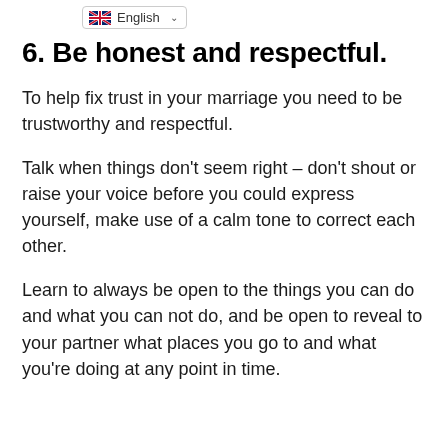English
6. Be honest and respectful.
To help fix trust in your marriage you need to be trustworthy and respectful.
Talk when things don’t seem right – don’t shout or raise your voice before you could express yourself, make use of a calm tone to correct each other.
Learn to always be open to the things you can do and what you can not do, and be open to reveal to your partner what places you go to and what you’re doing at any point in time.